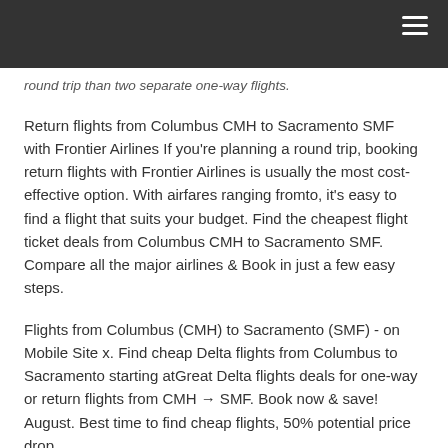≡
round trip than two separate one-way flights.
Return flights from Columbus CMH to Sacramento SMF with Frontier Airlines If you're planning a round trip, booking return flights with Frontier Airlines is usually the most cost-effective option. With airfares ranging fromto, it's easy to find a flight that suits your budget. Find the cheapest flight ticket deals from Columbus CMH to Sacramento SMF. Compare all the major airlines & Book in just a few easy steps.
Flights from Columbus (CMH) to Sacramento (SMF) - on Mobile Site x. Find cheap Delta flights from Columbus to Sacramento starting atGreat Delta flights deals for one-way or return flights from CMH → SMF. Book now & save! August. Best time to find cheap flights, 50% potential price drop